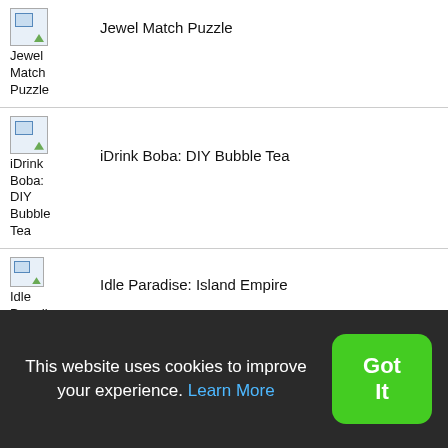Jewel Match Puzzle
iDrink Boba: DIY Bubble Tea
Idle Paradise: Island Empire
Idle Monster Catch
This website uses cookies to improve your experience. Learn More
Got It